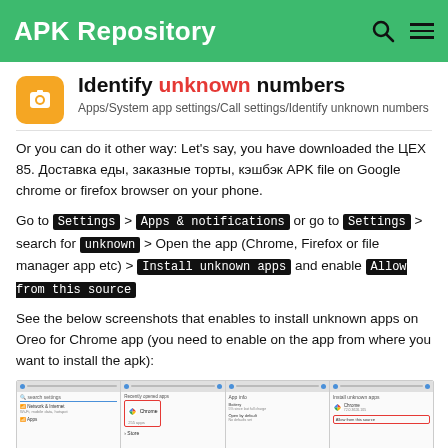APK Repository
Identify unknown numbers
Apps/System app settings/Call settings/Identify unknown numbers
Or you can do it other way: Let's say, you have downloaded the ЦЕХ 85. Доставка еды, заказные торты, кэшбэк APK file on Google chrome or firefox browser on your phone.
Go to Settings > Apps & notifications or go to Settings > search for unknown > Open the app (Chrome, Firefox or file manager app etc) > Install unknown apps and enable Allow from this source
See the below screenshots that enables to install unknown apps on Oreo for Chrome app (you need to enable on the app from where you want to install the apk):
[Figure (screenshot): Four-panel screenshot showing Android settings steps: search settings, Apps & notifications with Chrome highlighted, App info, and Install unknown apps with Allow from this source toggle]